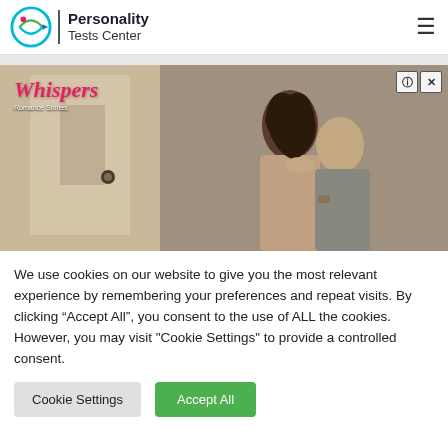Personality Tests Center
[Figure (illustration): Advertisement banner for 'Whispers' romance stories app showing a couple embracing near a doorway, with a close button (? X) in the top right corner.]
We use cookies on our website to give you the most relevant experience by remembering your preferences and repeat visits. By clicking “Accept All”, you consent to the use of ALL the cookies. However, you may visit "Cookie Settings" to provide a controlled consent.
Cookie Settings | Accept All